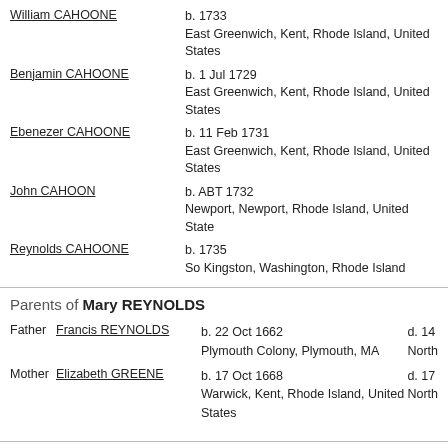William CAHOONE — b. 1733, East Greenwich, Kent, Rhode Island, United States
Benjamin CAHOONE — b. 1 Jul 1729, East Greenwich, Kent, Rhode Island, United States
Ebenezer CAHOONE — b. 11 Feb 1731, East Greenwich, Kent, Rhode Island, United States
John CAHOON — b. ABT 1732, Newport, Newport, Rhode Island, United States
Reynolds CAHOONE — b. 1735, So Kingston, Washington, Rhode Island
Parents of Mary REYNOLDS
| Role | Name | Birth | Death |
| --- | --- | --- | --- |
| Father | Francis REYNOLDS | b. 22 Oct 1662
Plymouth Colony, Plymouth, MA | d. 14...
North... |
| Mother | Elizabeth GREENE | b. 17 Oct 1668
Warwick, Kent, Rhode Island, United States | d. 17...
North... |